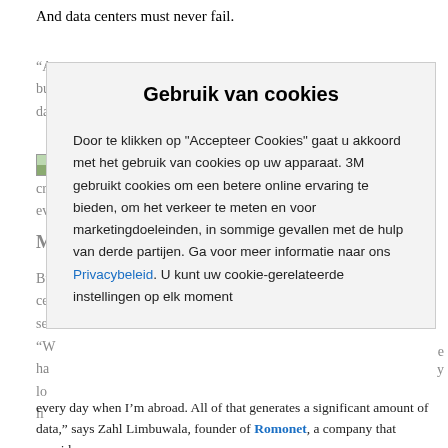And data centers must never fail.
“A... bu... da...
[Figure (photo): Small image partially visible behind modal]
cr... ev...
M...
Bu... ce... se...
“W... ha... lo... li...
Gebruik van cookies
Door te klikken op "Accepteer Cookies" gaat u akkoord met het gebruik van cookies op uw apparaat. 3M gebruikt cookies om een betere online ervaring te bieden, om het verkeer te meten en voor marketingdoeleinden, in sommige gevallen met de hulp van derde partijen. Ga voor meer informatie naar ons Privacybeleid. U kunt uw cookie-gerelateerde instellingen op elk moment
every day when I’m abroad. All of that generates a significant amount of data,” says Zahl Limbuwala, founder of Romonet, a company that provides